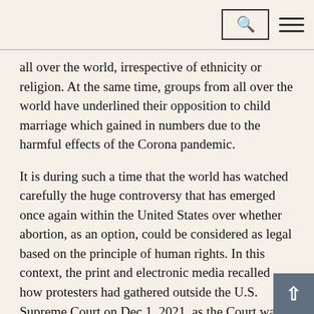Search and menu navigation header
all over the world, irrespective of ethnicity or religion. At the same time, groups from all over the world have underlined their opposition to child marriage which gained in numbers due to the harmful effects of the Corona pandemic.
It is during such a time that the world has watched carefully the huge controversy that has emerged once again within the United States over whether abortion, as an option, could be considered as legal based on the principle of human rights. In this context, the print and electronic media recalled how protesters had gathered outside the U.S. Supreme Court on Dec 1, 2021, as the Court was hearing oral arguments over a Mississippi law restricting abortions in the State after 15 weeks of pregnancy.